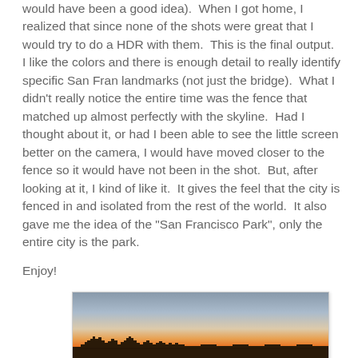would have been a good idea).  When I got home, I realized that since none of the shots were great that I would try to do a HDR with them.  This is the final output.  I like the colors and there is enough detail to really identify specific San Fran landmarks (not just the bridge).  What I didn't really notice the entire time was the fence that matched up almost perfectly with the skyline.  Had I thought about it, or had I been able to see the little screen better on the camera, I would have moved closer to the fence so it would have not been in the shot.  But, after looking at it, I kind of like it.  It gives the feel that the city is fenced in and isolated from the rest of the world.  It also gave me the idea of the "San Francisco Park", only the entire city is the park.
Enjoy!
[Figure (photo): HDR photo of San Francisco skyline at sunset showing warm orange and yellow tones in the sky gradient above the city silhouette with a fence in the foreground]